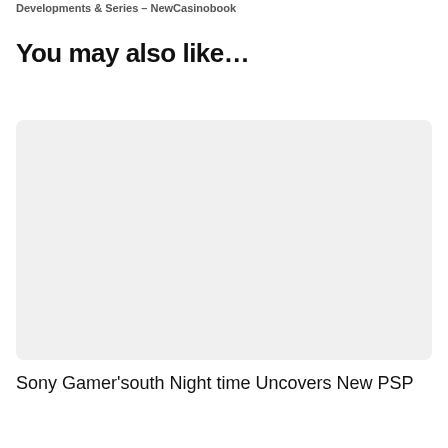Developments & Series – NewCasinobook
You may also like…
[Figure (photo): Placeholder image card with light gray background and rounded corners]
Sony Gamer'south Night time Uncovers New PSP